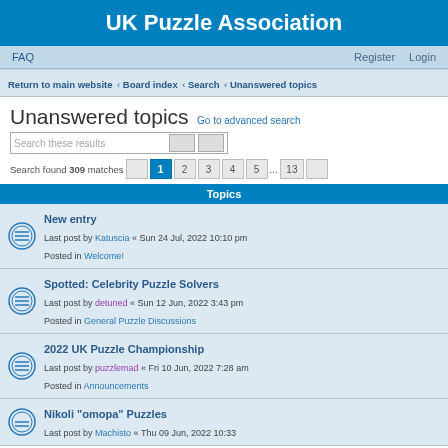UK Puzzle Association
FAQ | Register | Login
Return to main website · Board index · Search · Unanswered topics
Unanswered topics
Go to advanced search
Search these results
Search found 309 matches  1 2 3 4 5 ... 13
Topics
New entry
Last post by Katuscia « Sun 24 Jul, 2022 10:10 pm
Posted in Welcome!
Spotted: Celebrity Puzzle Solvers
Last post by detuned « Sun 12 Jun, 2022 3:43 pm
Posted in General Puzzle Discussions
2022 UK Puzzle Championship
Last post by puzzlemad « Fri 10 Jun, 2022 7:28 am
Posted in Announcements
Nikoli "omopa" Puzzles
Last post by ...